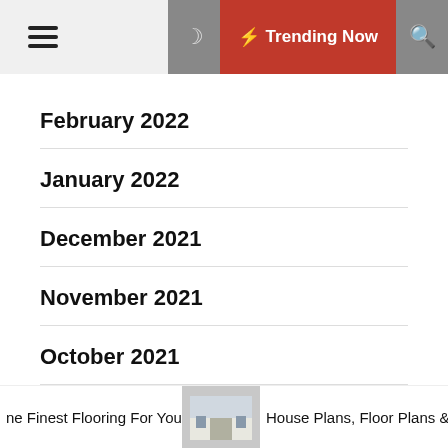Trending Now
February 2022
January 2022
December 2021
November 2021
October 2021
September 2021
August 2021
ne Finest Flooring For Your   House Plans, Floor Plans &